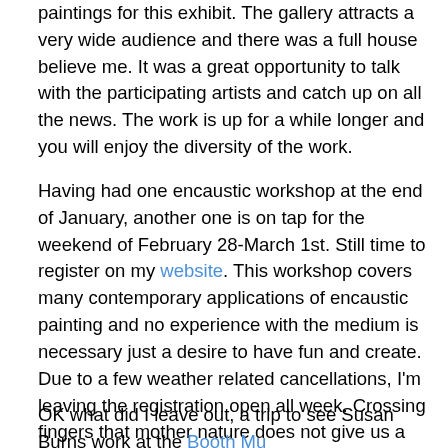paintings for this exhibit. The gallery attracts a very wide audience and there was a full house believe me. It was a great opportunity to talk with the participating artists and catch up on all the news. The work is up for a while longer and you will enjoy the diversity of the work.
Having had one encaustic workshop at the end of January, another one is on tap for the weekend of February 28-March 1st. Still time to register on my website. This workshop covers many contemporary applications of encaustic  painting and no experience with the medium is necessary just a desire to have fun and create. Due to a few weather related cancellations, I'm leaving the registration open all week. Crossing fingers that mother nature does not give us a surprise at the end of next week.
OK what did I leave out, a trip to see Susan Burns work at the Booth Museum and a visit to an upcoming show...